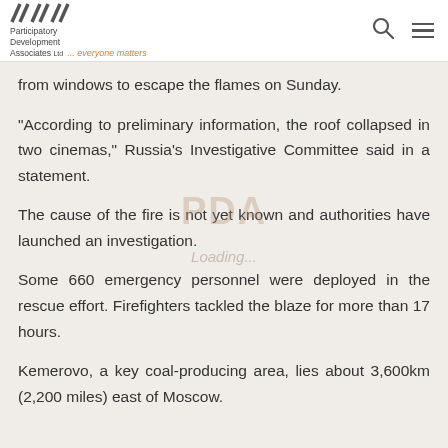Participatory Development Associates Ltd ... everyone matters
from windows to escape the flames on Sunday.
“According to preliminary information, the roof collapsed in two cinemas,” Russia’s Investigative Committee said in a statement.
The cause of the fire is not yet known and authorities have launched an investigation.
Some 660 emergency personnel were deployed in the rescue effort. Firefighters tackled the blaze for more than 17 hours.
Kemerovo, a key coal-producing area, lies about 3,600km (2,200 miles) east of Moscow.